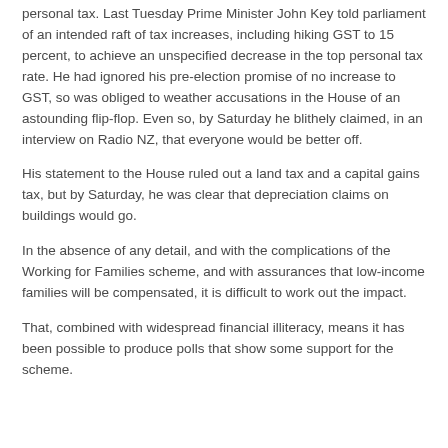personal tax. Last Tuesday Prime Minister John Key told parliament of an intended raft of tax increases, including hiking GST to 15 percent, to achieve an unspecified decrease in the top personal tax rate. He had ignored his pre-election promise of no increase to GST, so was obliged to weather accusations in the House of an astounding flip-flop. Even so, by Saturday he blithely claimed, in an interview on Radio NZ, that everyone would be better off.
His statement to the House ruled out a land tax and a capital gains tax, but by Saturday, he was clear that depreciation claims on buildings would go.
In the absence of any detail, and with the complications of the Working for Families scheme, and with assurances that low-income families will be compensated, it is difficult to work out the impact.
That, combined with widespread financial illiteracy, means it has been possible to produce polls that show some support for the scheme.